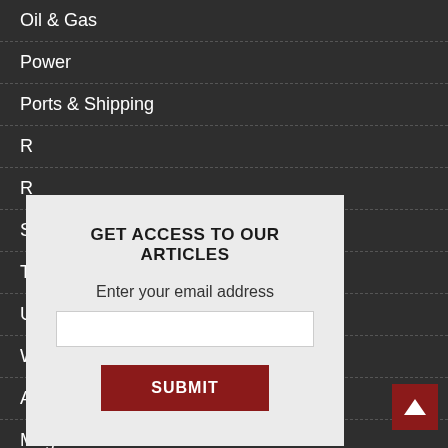Oil & Gas
Power
Ports & Shipping
[Figure (screenshot): Modal popup with title 'GET ACCESS TO OUR ARTICLES', an email input field, and a SUBMIT button on a light gray background, overlaying a dark navigation menu.]
Magazines
Directories
Conferences
Custom events
Research